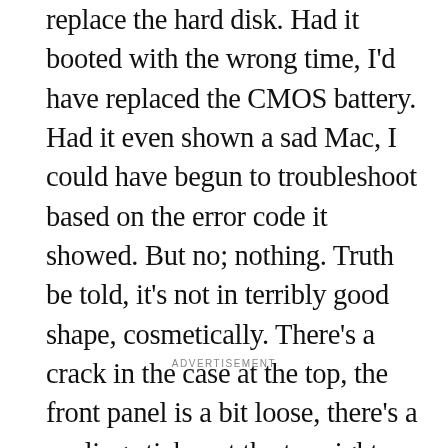replace the hard disk. Had it booted with the wrong time, I'd have replaced the CMOS battery. Had it even shown a sad Mac, I could have begun to troubleshoot based on the error code it showed. But no; nothing. Truth be told, it's not in terribly good shape, cosmetically. There's a crack in the case at the top, the front panel is a bit loose, there's a peeling sticker at the top right, there are a few scuffs and scrapes, and of course the plastic has yellowed pretty extensively over the two decades of its existence.
ADVERTISEMENT